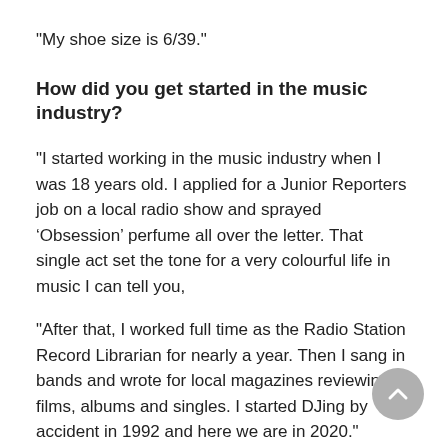"My shoe size is 6/39."
How did you get started in the music industry?
"I started working in the music industry when I was 18 years old. I applied for a Junior Reporters job on a local radio show and sprayed ‘Obsession’ perfume all over the letter. That single act set the tone for a very colourful life in music I can tell you,
"After that, I worked full time as the Radio Station Record Librarian for nearly a year. Then I sang in bands and wrote for local magazines reviewing films, albums and singles. I started DJing by accident in 1992 and here we are in 2020."